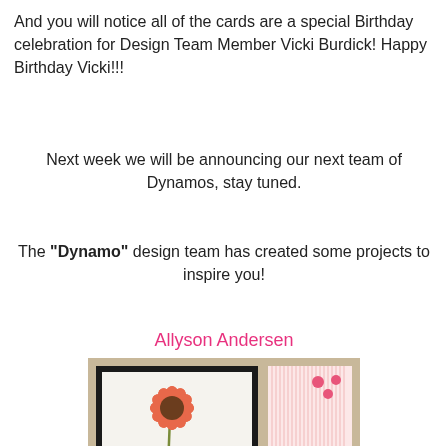And you will notice all of the cards are a special Birthday celebration for Design Team Member Vicki Burdick! Happy Birthday Vicki!!!
Next week we will be announcing our next team of Dynamos, stay tuned.
The "Dynamo" design team has created some projects to inspire you!
Allyson Andersen
[Figure (photo): A handmade birthday card featuring a coral/orange flower (sunflower-like) with leaves on a stem, on a white panel with dark border, tan card base, pink striped paper on the right side, coral ribbon tied in a bow, three pink dots in upper right, and 'birthday wishes' in script at the bottom.]